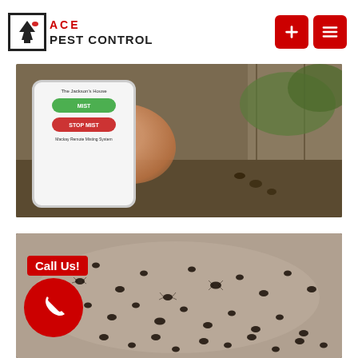[Figure (logo): Ace Pest Control logo with spade icon, red ACE text, and black PEST CONTROL text]
[Figure (photo): Hand holding a smartphone showing a pest control app interface with green and red buttons, surrounded by outdoor background with termite or insect activity near a structure]
[Figure (photo): Close-up macro photo of many black ants swarming on a surface, with a red 'Call Us!' label and red circle phone button in the lower left]